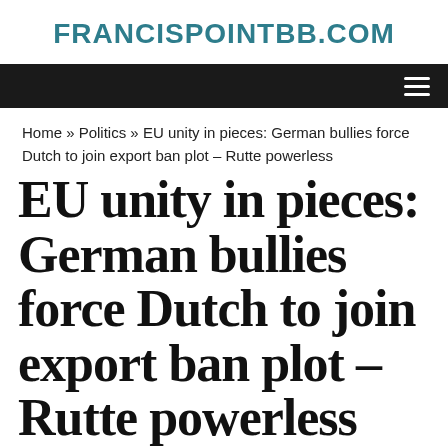FRANCISPOINTBB.COM
Home » Politics » EU unity in pieces: German bullies force Dutch to join export ban plot – Rutte powerless
EU unity in pieces: German bullies force Dutch to join export ban plot – Rutte powerless